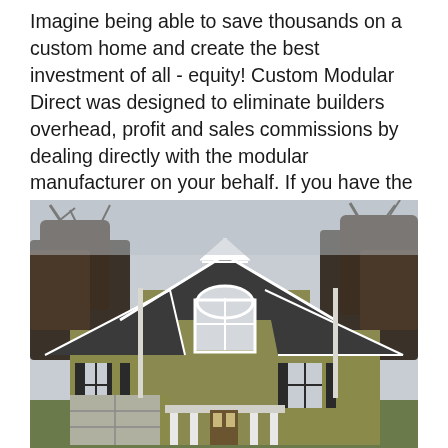Imagine being able to save thousands on a custom home and create the best investment of all - equity! Custom Modular Direct was designed to eliminate builders overhead, profit and sales commissions by dealing directly with the modular manufacturer on your behalf. If you have the ability to coordinate and manage 5-10 subcontractors, you have the ability to save THOUSANDS! If you think this sounds too good to be true, read what our customers have to say.
[Figure (photo): Exterior photo of a two-story custom modular home with tan/olive siding, dark shutters, white decorative gable trim, arched window in center upper level, garage on lower left, framed by bare winter trees against an overcast sky.]